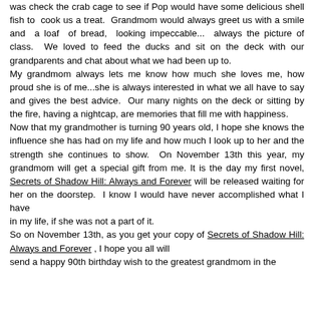was check the crab cage to see if Pop would have some delicious shell fish to cook us a treat. Grandmom would always greet us with a smile and a loaf of bread, looking impeccable... always the picture of class. We loved to feed the ducks and sit on the deck with our grandparents and chat about what we had been up to.
My grandmom always lets me know how much she loves me, how proud she is of me...she is always interested in what we all have to say and gives the best advice. Our many nights on the deck or sitting by the fire, having a nightcap, are memories that fill me with happiness.
Now that my grandmother is turning 90 years old, I hope she knows the influence she has had on my life and how much I look up to her and the strength she continues to show. On November 13th this year, my grandmom will get a special gift from me. It is the day my first novel, Secrets of Shadow Hill: Always and Forever will be released waiting for her on the doorstep. I know I would have never accomplished what I have
in my life, if she was not a part of it.
So on November 13th, as you get your copy of Secrets of Shadow Hill: Always and Forever , I hope you all will
send a happy 90th birthday wish to the greatest grandmom in the